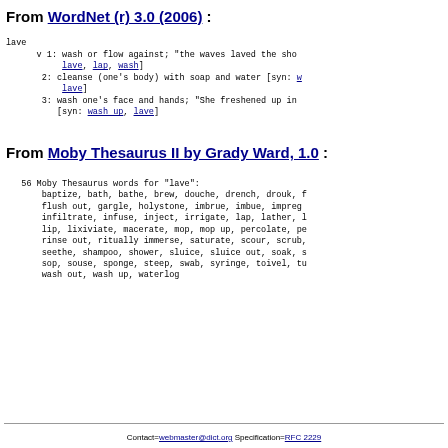From WordNet (r) 3.0 (2006) :
lave
     v 1: wash or flow against; "the waves laved the sho...
          lave, lap, wash]
       2: cleanse (one's body) with soap and water [syn: w...
          lave]
       3: wash one's face and hands; "She freshened up in...
          [syn: wash up, lave]
From Moby Thesaurus II by Grady Ward, 1.0 :
56 Moby Thesaurus words for "lave":
    baptize, bath, bathe, brew, douche, drench, drouk, f...
    flush out, gargle, holystone, imbrue, imbue, impreg...
    infiltrate, infuse, inject, irrigate, lap, lather, l...
    lip, lixiviate, macerate, mop, mop up, percolate, pe...
    rinse out, ritually immerse, saturate, scour, scrub,...
    seethe, shampoo, shower, sluice, sluice out, soak, s...
    sop, souse, sponge, steep, swab, syringe, toivel, tu...
    wash out, wash up, waterlog
Contact=webmaster@dict.org Specification=RFC 2229